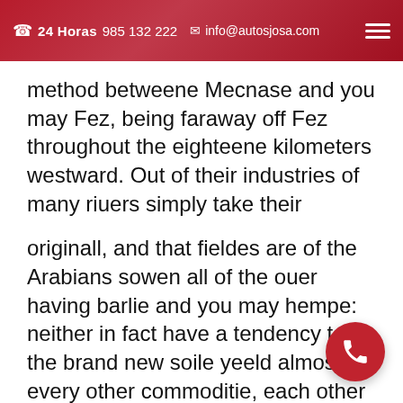☎ 24 Horas 985 132 222 ✉ info@autosjosa.com
method betweene Mecnase and you may Fez, being faraway off Fez throughout the eighteene kilometers westward. Out of their industries of many riuers simply take their
originall, and that fieldes are of the Arabians sowen all of the ouer having barlie and you may hempe: neither in fact have a tendency to the brand new soile yeeld almost every other commoditie, each other by the reasoning of one's barrennes as well as which is actually for the most area ouerflowed having drinking water. Whatsoeuer commoditie ariseth out of this place redoundeth to the priestes of the principall Mahumetan temple inside Fez,